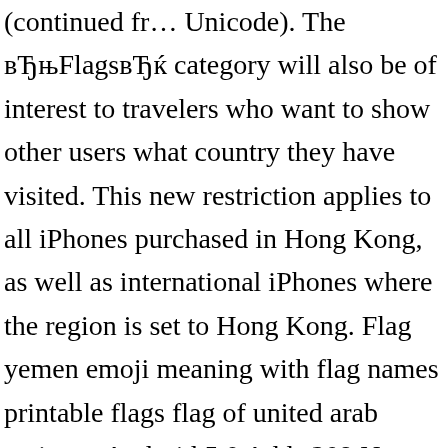(continued fr... Unicode). The “Flags” category will also be of interest to travelers who want to show other users what country they have visited. This new restriction applies to all iPhones purchased in Hong Kong, as well as international iPhones where the region is set to Hong Kong. Flag yemen emoji meaning with flag names printable flags flag of united arab emirates Android 5 0 Adds 209 New Emoji Flags PcmagLe In China Taiwan Flag Emoji Pulled From Hong Kong IphonesFlag Emojis And 2018 Fifa World Cup Russia Karen E LotterEmoji